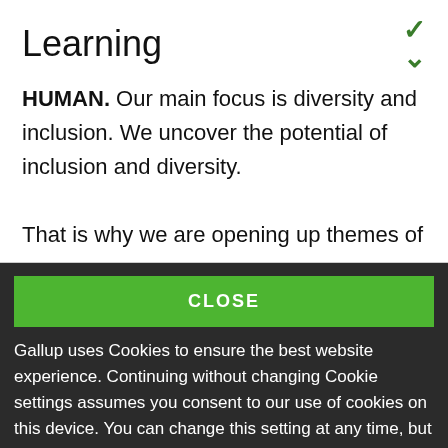Learning
HUMAN. Our main focus is diversity and inclusion. We uncover the potential of inclusion and diversity.

That is why we are opening up themes of
CLOSE
Gallup uses Cookies to ensure the best website experience. Continuing without changing Cookie settings assumes you consent to our use of cookies on this device. You can change this setting at any time, but that may impair functionality on our websites.
Privacy Statement   Site Terms of Use and Sale

Product Terms of Use   Adjust your cookie settings.